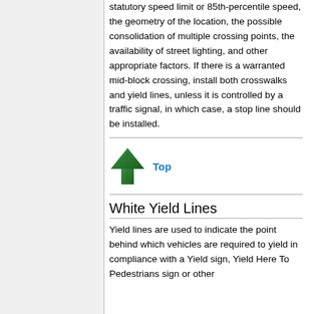statutory speed limit or 85th-percentile speed, the geometry of the location, the possible consolidation of multiple crossing points, the availability of street lighting, and other appropriate factors. If there is a warranted mid-block crossing, install both crosswalks and yield lines, unless it is controlled by a traffic signal, in which case, a stop line should be installed.
[Figure (illustration): Green upward arrow icon with tree texture, linking to Top of page]
White Yield Lines
Yield lines are used to indicate the point behind which vehicles are required to yield in compliance with a Yield sign, Yield Here To Pedestrians sign or other